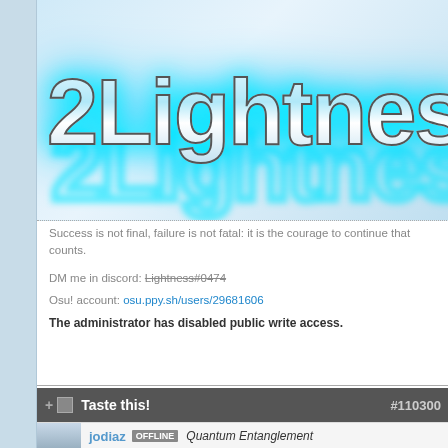[Figure (logo): 2Lightness logo in large glowing cyan/teal outlined text with reflective metallic fill on light blue gradient background]
Success is not final, failure is not fatal: it is the courage to continue that counts.
DM me in discord: Lightness#0474
Osu! account: osu.ppy.sh/users/29681606
The administrator has disabled public write access.
Taste this! #110300
jodiaz OFFLINE Quantum Entanglement Posts: 2481